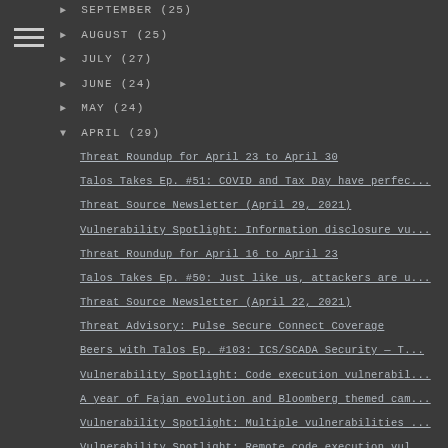► SEPTEMBER (25)
► AUGUST (25)
► JULY (27)
► JUNE (24)
► MAY (24)
▼ APRIL (29)
Threat Roundup for April 23 to April 30
Talos Takes Ep. #51: COVID and Tax Day have perfec...
Threat Source Newsletter (April 29, 2021)
Vulnerability Spotlight: Information disclosure vu...
Threat Roundup for April 16 to April 23
Talos Takes Ep. #50: Just like us, attackers are u...
Threat Source Newsletter (April 22, 2021)
Threat Advisory: Pulse Secure Connect Coverage
Beers with Talos Ep. #103: ICS/SCADA Security — T...
Vulnerability Spotlight: Code execution vulnerabil...
A year of Fajan evolution and Bloomberg themed cam...
Vulnerability Spotlight: Multiple vulnerabilities ...
Vulnerability Spotlight: Remote code execution vul...
Threat Roundup for April 9 to April 16